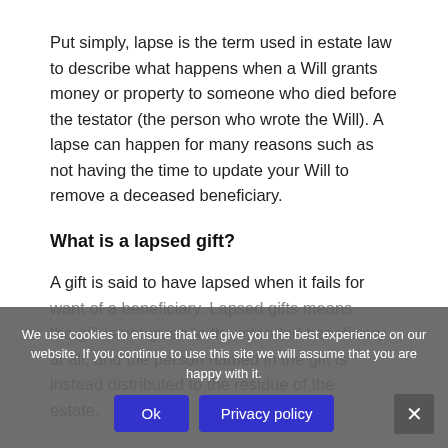Put simply, lapse is the term used in estate law to describe what happens when a Will grants money or property to someone who died before the testator (the person who wrote the Will). A lapse can happen for many reasons such as not having the time to update your Will to remove a deceased beneficiary.
What is a lapsed gift?
A gift is said to have lapsed when it fails for want of a beneficiary. Lapsed gifts means the gift is not given to the intended beneficiary at all, and the person named in the gift is instead distributed to the residue of the estate.
We use cookies to ensure that we give you the best experience on our website. If you continue to use this site we will assume that you are happy with it.